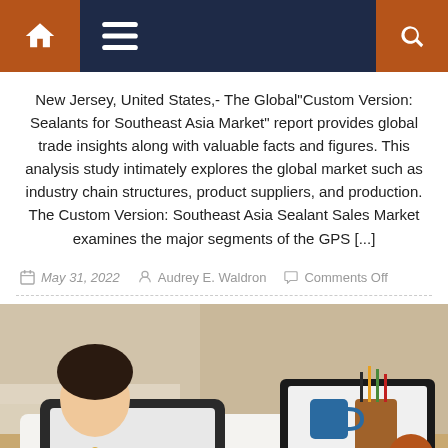Navigation bar with home icon, menu icon, and search icon
New Jersey, United States,- The Global"Custom Version: Sealants for Southeast Asia Market" report provides global trade insights along with valuable facts and figures. This analysis study intimately explores the global market such as industry chain structures, product suppliers, and production. The Custom Version: Southeast Asia Sealant Sales Market examines the major segments of the GPS [...]
May 31, 2022   Audrey E. Waldron   Comments Off
[Figure (photo): Woman in white blouse working at a desk with a tablet and laptop, with a pencil holder and mug in the background]